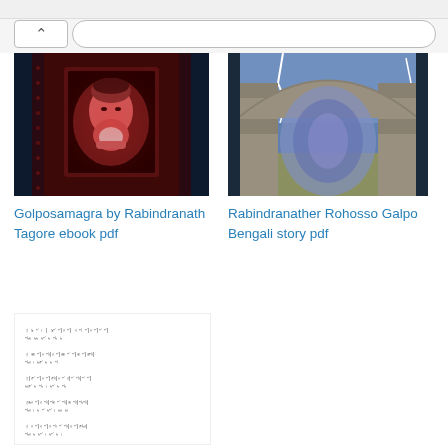[Figure (screenshot): Top browser navigation bar with back button and search/address bar]
[Figure (photo): Book cover of Golposamagra by Rabindranath Tagore - dark red background with a framed portrait of Rabindranath Tagore]
Golposamagra by Rabindranath Tagore ebook pdf
[Figure (photo): Book cover of Rabindranather Rohosso Galpo Bengali story pdf - stone archway with lightning and mystical blue light]
Rabindranather Rohosso Galpo Bengali story pdf
[Figure (illustration): Thumbnail image showing Bengali script/swaralipi (music notation) text lines]
Shreshtho Rabindra Swaralipi by Rabindranath Tagore